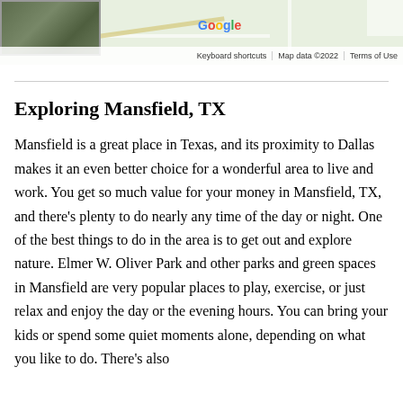[Figure (map): Partial Google Maps screenshot showing a satellite view thumbnail in the top-left corner and a road map with streets. At the bottom: 'Keyboard shortcuts | Map data ©2022 | Terms of Use'. Google logo visible.]
Exploring Mansfield, TX
Mansfield is a great place in Texas, and its proximity to Dallas makes it an even better choice for a wonderful area to live and work. You get so much value for your money in Mansfield, TX, and there's plenty to do nearly any time of the day or night. One of the best things to do in the area is to get out and explore nature. Elmer W. Oliver Park and other parks and green spaces in Mansfield are very popular places to play, exercise, or just relax and enjoy the day or the evening hours. You can bring your kids or spend some quiet moments alone, depending on what you like to do. There's also